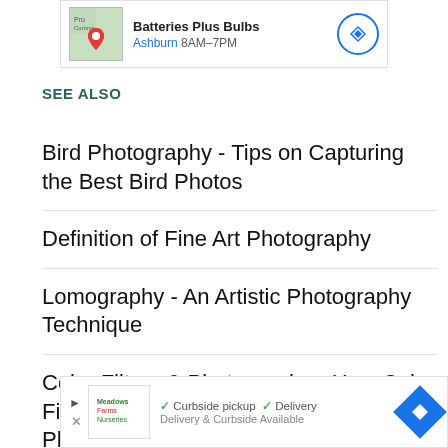[Figure (screenshot): Ad banner: Batteries Plus Bulbs, Ashburn 8AM-7PM with map thumbnail and navigation circle icon]
SEE ALSO
Bird Photography - Tips on Capturing the Best Bird Photos
Definition of Fine Art Photography
Lomography - An Artistic Photography Technique
Color Filters & Photography - How Color Filters Can Change The Mood of Your Photos
[Figure (screenshot): Bottom ad banner: store logo with Curbside pickup, Delivery and Delivery & Curbside Available text, with blue navigation diamond icon]